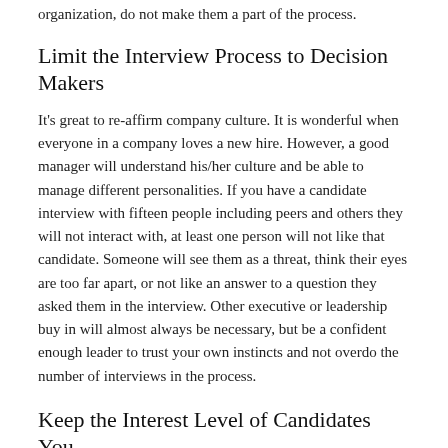organization, do not make them a part of the process.
Limit the Interview Process to Decision Makers
It's great to re-affirm company culture. It is wonderful when everyone in a company loves a new hire. However, a good manager will understand his/her culture and be able to manage different personalities. If you have a candidate interview with fifteen people including peers and others they will not interact with, at least one person will not like that candidate. Someone will see them as a threat, think their eyes are too far apart, or not like an answer to a question they asked them in the interview. Other executive or leadership buy in will almost always be necessary, but be a confident enough leader to trust your own instincts and not overdo the number of interviews in the process.
Keep the Interest Level of Candidates You Like